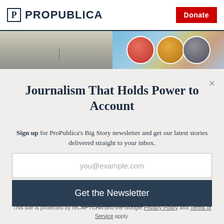ProPublica | Donate
[Figure (photo): Left: muted landscape photo with dark horizon. Right: colorful illustrated avatars of three people on blue background.]
Journalism That Holds Power to Account
Sign up for ProPublica's Big Story newsletter and get our latest stories delivered straight to your inbox.
you@example.com (email input placeholder)
Get the Newsletter
No thanks, I'm all set
This site is protected by reCAPTCHA and the Google Privacy Policy and Terms of Service apply.